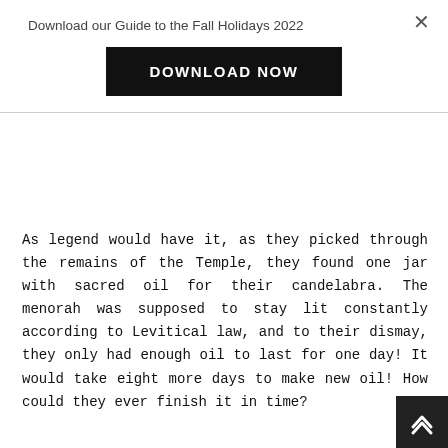Download our Guide to the Fall Holidays 2022
DOWNLOAD NOW
As legend would have it, as they picked through the remains of the Temple, they found one jar with sacred oil for their candelabra. The menorah was supposed to stay lit constantly according to Levitical law, and to their dismay, they only had enough oil to last for one day! It would take eight more days to make new oil! How could they ever finish it in time?
Not to be deterred, they decided to light the oil they had and make new oil for the lamp. Legend